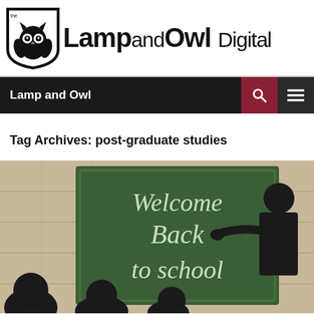[Figure (logo): The Lamp and Owl Digital logo with owl icon and text]
Lamp and Owl
Tag Archives: post-graduate studies
[Figure (photo): Welcome Back to school image with chalkboard, teacher silhouette pointing at board, and student silhouettes in foreground]